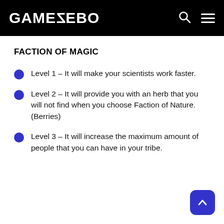GAMEZEBO
FACTION OF MAGIC
Level 1 – It will make your scientists work faster.
Level 2 – It will provide you with an herb that you will not find when you choose Faction of Nature. (Berries)
Level 3 – It will increase the maximum amount of people that you can have in your tribe.